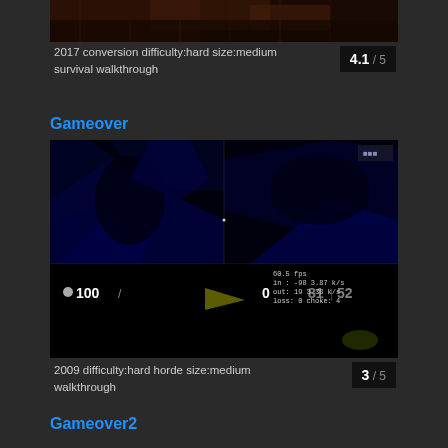[Figure (screenshot): Top portion of a dark game screenshot showing a dimly lit scene with wooden/metalic textures]
2017 conversion difficulty:hard size:medium survival walkthrough
4.1 / 5
Gameover
[Figure (screenshot): Dark blue first-person game screenshot showing a Quake-style level with HUD elements including health 100, armor 0, ammo 81/52, and network stats overlay in bottom right]
2009 difficulty:hard horde size:medium walkthrough
3 / 5
Gameover2